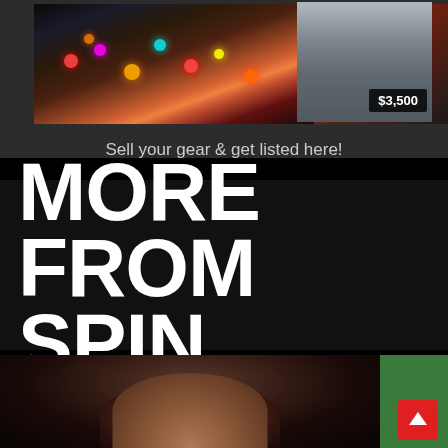[Figure (photo): Pinball machine with colorful lights and a price badge showing $3,500, alongside a staircase image]
Sell your gear & get listed here!
MORE FROM SPIN
[Figure (photo): Portrait photo of a person with dark hair against a dark background, with a green section visible on the right and a red back-to-top button]